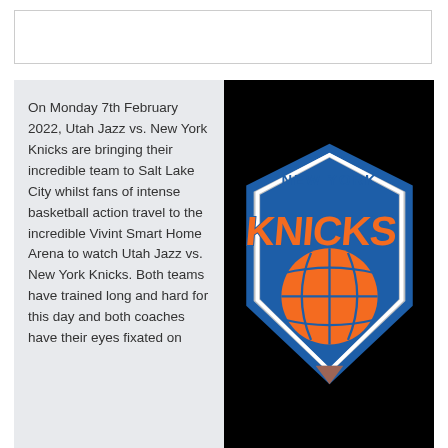[Figure (other): Empty white rectangle with border at top of page]
On Monday 7th February 2022, Utah Jazz vs. New York Knicks are bringing their incredible team to Salt Lake City whilst fans of intense basketball action travel to the incredible Vivint Smart Home Arena to watch Utah Jazz vs. New York Knicks. Both teams have trained long and hard for this day and both coaches have their eyes fixated on
[Figure (logo): New York Knicks NBA team logo — orange KNICKS text on blue and grey shield with basketball, NEW YORK text at top in blue, on black background]